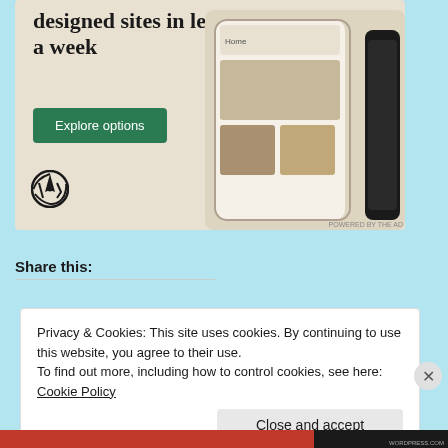[Figure (screenshot): WordPress.com advertisement banner showing 'designed sites in less than a week' with an Explore options button, WordPress logo, and a phone mockup displaying a food website]
Share this:
Privacy & Cookies: This site uses cookies. By continuing to use this website, you agree to their use.
To find out more, including how to control cookies, see here: Cookie Policy
Close and accept